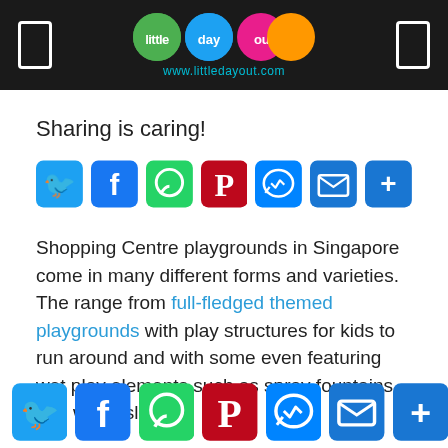little day out — www.littledayout.com
Sharing is caring!
[Figure (infographic): Social sharing buttons: Twitter, Facebook, WhatsApp, Pinterest, Messenger, Email, More]
Shopping Centre playgrounds in Singapore come in many different forms and varieties. The range from full-fledged themed playgrounds with play structures for kids to run around and with some even featuring wet play elements such as spray fountains and water slides.
These shopping centre playgrounds in Singapore are often free and serve as amenities for shoppers. In fact, for parents with young children, the shopping centre playgrounds can em...er...d to ke...p especially to a
[Figure (infographic): Social sharing buttons bottom bar: Twitter, Facebook, WhatsApp, Pinterest, Messenger, Email, More]